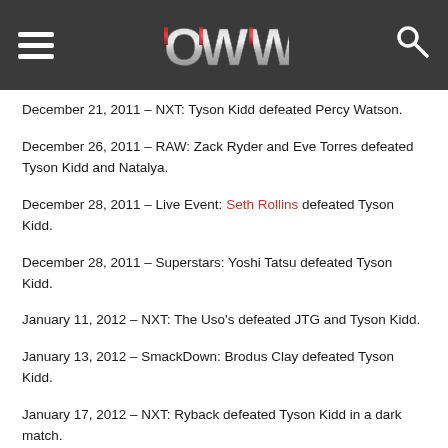OWW (Online World of Wrestling) website header with hamburger menu, OWW logo, and search icon
December 21, 2011 – NXT: Tyson Kidd defeated Percy Watson.
December 26, 2011 – RAW: Zack Ryder and Eve Torres defeated Tyson Kidd and Natalya.
December 28, 2011 – Live Event: Seth Rollins defeated Tyson Kidd.
December 28, 2011 – Superstars: Yoshi Tatsu defeated Tyson Kidd.
January 11, 2012 – NXT: The Uso's defeated JTG and Tyson Kidd.
January 13, 2012 – SmackDown: Brodus Clay defeated Tyson Kidd.
January 17, 2012 – NXT: Ryback defeated Tyson Kidd in a dark match.